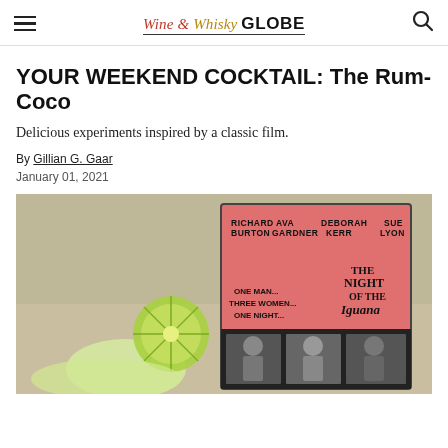Wine & Whisky GLOBE
YOUR WEEKEND COCKTAIL: The Rum-Coco
Delicious experiments inspired by a classic film.
By Gillian G. Gaar
January 01, 2021
[Figure (photo): A cocktail drink with a lime slice garnish next to a DVD case for 'The Night of the Iguana' featuring Richard Burton, Ava Gardner, Deborah Kerr, Sue Lyon]